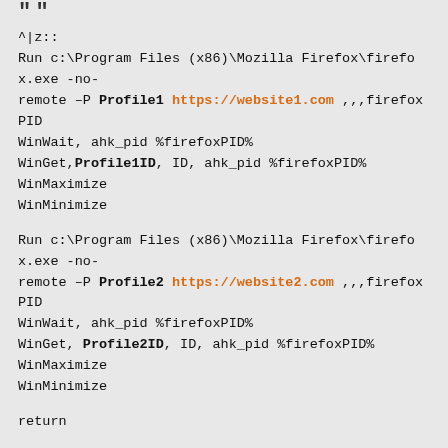""
^|z::
Run c:\Program Files (x86)\Mozilla Firefox\firefox.exe -no-remote -P Profile1 https://website1.com ,,,firefoxPID
WinWait, ahk_pid %firefoxPID%
WinGet,Profile1ID, ID, ahk_pid %firefoxPID%
WinMaximize
WinMinimize
Run c:\Program Files (x86)\Mozilla Firefox\firefox.exe -no-remote -P Profile2 https://website2.com ,,,firefoxPID
WinWait, ahk_pid %firefoxPID%
WinGet, Profile2ID, ID, ahk_pid %firefoxPID%
WinMaximize
WinMinimize
return
#a::
if !Profile1ID
{
msgbox 16, Error, Profile1ID is empty.  Please close all Firefox windows and relaunch with Autohotkey by pressing